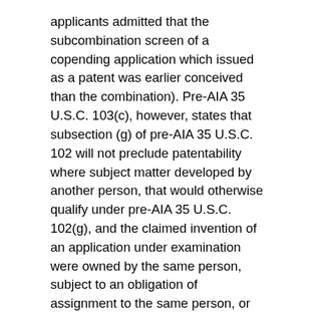applicants admitted that the subcombination screen of a copending application which issued as a patent was earlier conceived than the combination). Pre-AIA 35 U.S.C. 103(c), however, states that subsection (g) of pre-AIA 35 U.S.C. 102 will not preclude patentability where subject matter developed by another person, that would otherwise qualify under pre-AIA 35 U.S.C. 102(g), and the claimed invention of an application under examination were owned by the same person, subject to an obligation of assignment to the same person, or involved in a joint research agreement, which meets the requirements of pre-AIA 35 U.S.C. 103(c)(2) and (c)(3), at the time the invention was made. See MPEP § 2146.
For additional examples of pre-AIA 35 U.S.C. 102(g) issues such as conception, reduction to practice and diligence outside the context of interference matters, see In re Costello, 717 F.2d 1346, 219 USPQ 389 (Fed. Cir. 1983) (discussing the concepts of conception and constructive reduction to practice in the context of a